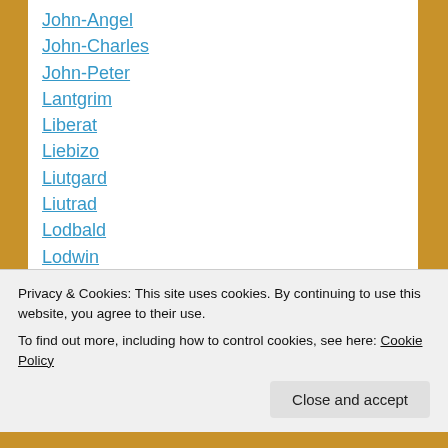John-Angel
John-Charles
John-Peter
Lantgrim
Liberat
Liebizo
Liutgard
Liutrad
Lodbald
Lodwin
Madaler
Madalrich
Marcrad
Marcrich
Privacy & Cookies: This site uses cookies. By continuing to use this website, you agree to their use.
To find out more, including how to control cookies, see here: Cookie Policy
Close and accept